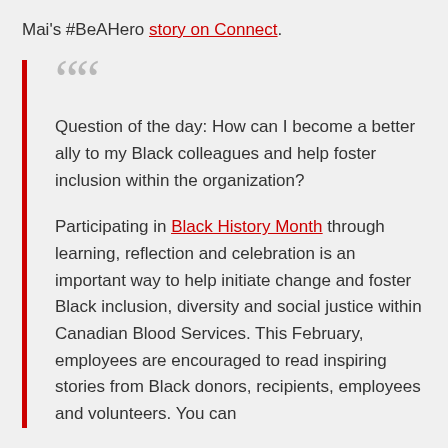Mai's #BeAHero story on Connect.
Question of the day: How can I become a better ally to my Black colleagues and help foster inclusion within the organization?

Participating in Black History Month through learning, reflection and celebration is an important way to help initiate change and foster Black inclusion, diversity and social justice within Canadian Blood Services. This February, employees are encouraged to read inspiring stories from Black donors, recipients, employees and volunteers. You can